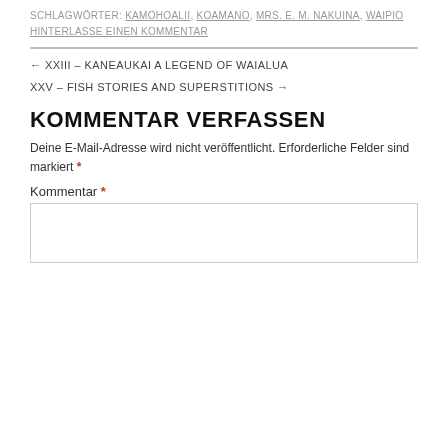SCHLAGWÖRTER: KAMOHOALII, KOAMANO, MRS. E. M. NAKUINA, WAIPIO
HINTERLASSE EINEN KOMMENTAR
← XXIII – KANEAUKAI A LEGEND OF WAIALUA
XXV – FISH STORIES AND SUPERSTITIONS →
KOMMENTAR VERFASSEN
Deine E-Mail-Adresse wird nicht veröffentlicht. Erforderliche Felder sind markiert *
Kommentar *